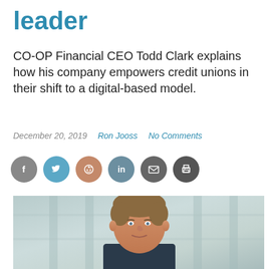leader
CO-OP Financial CEO Todd Clark explains how his company empowers credit unions in their shift to a digital-based model.
December 20, 2019  Ron Jooss  No Comments
[Figure (other): Social media share icons: Facebook, Twitter, Reddit, LinkedIn, Email, Print]
[Figure (photo): Portrait photo of Todd Clark, CEO of CO-OP Financial Services, a man with short brown hair wearing a suit, photographed in front of a building with glass windows]